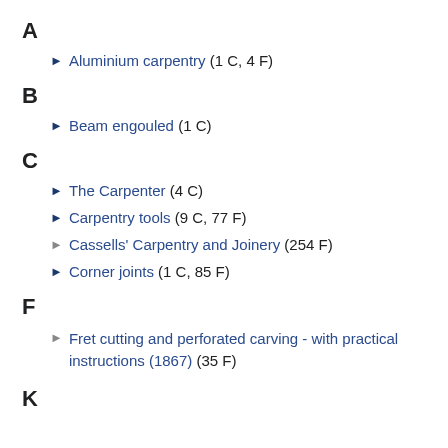A
► Aluminium carpentry (1 C, 4 F)
B
► Beam engouled (1 C)
C
► The Carpenter (4 C)
► Carpentry tools (9 C, 77 F)
► Cassells' Carpentry and Joinery (254 F)
► Corner joints (1 C, 85 F)
F
► Fret cutting and perforated carving - with practical instructions (1867) (35 F)
K